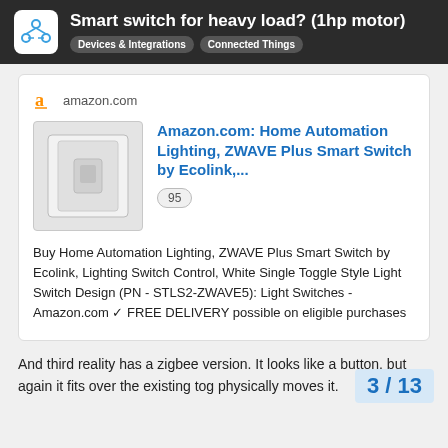Smart switch for heavy load? (1hp motor) — Devices & Integrations, Connected Things
[Figure (screenshot): Amazon.com product card showing Home Automation Lighting, ZWAVE Plus Smart Switch by Ecolink with product image, rating of 95, and description about free delivery]
And third reality has a zigbee version. It looks like a button, but again it fits over the existing tog physically moves it.
3 / 13